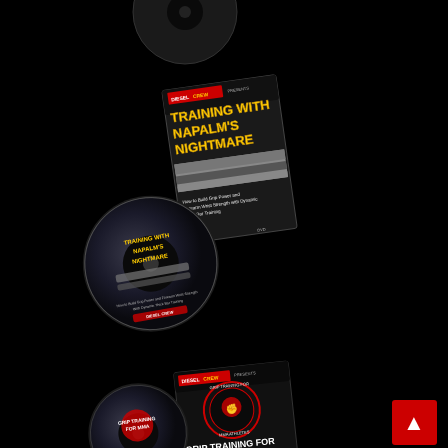[Figure (photo): Product photo showing two DVD products from Diesel Crew: 'Training with Napalm's Nightmare' (DVD case and disc, center-top area) and 'Grip Training for MMA Athletes' (DVD case and disc partially visible, bottom area). Both products shown at an angle against a black background. A red scroll-to-top button is visible in the bottom right corner.]